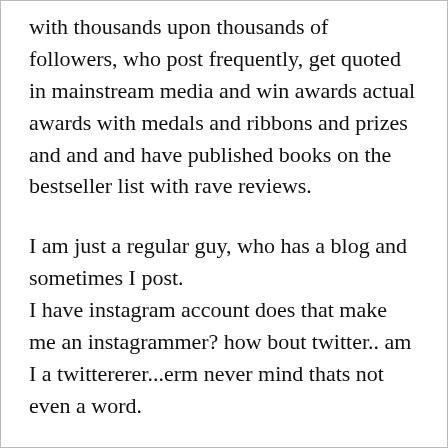with thousands upon thousands of followers, who post frequently, get quoted in mainstream media and win awards actual awards with medals and ribbons and prizes and and and have published books on the bestseller list with rave reviews.
I am just a regular guy, who has a blog and sometimes I post.
I have instagram account does that make me an instagrammer? how bout twitter.. am I a twittererer...erm never mind thats not even a word.